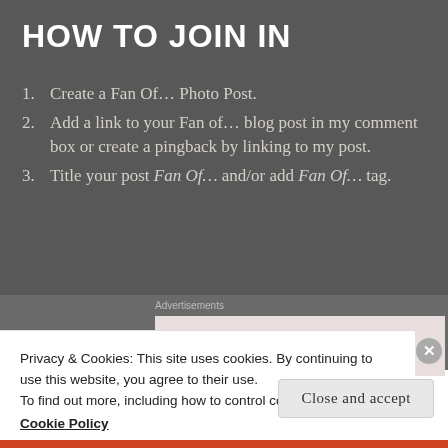HOW TO JOIN IN
1. Create a Fan Of… Photo Post.
2. Add a link to your Fan of… blog post in my comment box or create a pingback by linking to my post.
3. Title your post Fan Of… and/or add Fan Of… tag.
Advertisements
Privacy & Cookies: This site uses cookies. By continuing to use this website, you agree to their use.
To find out more, including how to control cookies, see here:
Cookie Policy
Close and accept